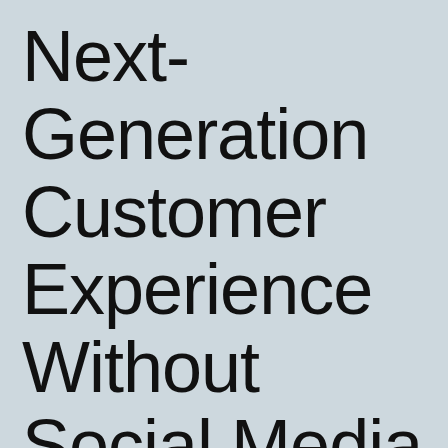Next-Generation Customer Experience Without Social Media Integration?